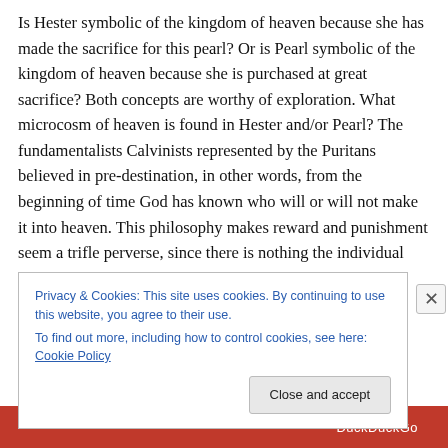Is Hester symbolic of the kingdom of heaven because she has made the sacrifice for this pearl? Or is Pearl symbolic of the kingdom of heaven because she is purchased at great sacrifice?  Both concepts are worthy of exploration. What microcosm of heaven is found in Hester and/or Pearl?  The fundamentalists Calvinists represented by the Puritans believed in pre-destination, in other words, from the beginning of time God has known who will or will not make it into heaven. This philosophy makes reward and punishment seem a trifle perverse, since there is nothing the individual can do to improve his or her spiritual
Privacy & Cookies: This site uses cookies. By continuing to use this website, you agree to their use.
To find out more, including how to control cookies, see here: Cookie Policy
Close and accept
DuckDuckGo